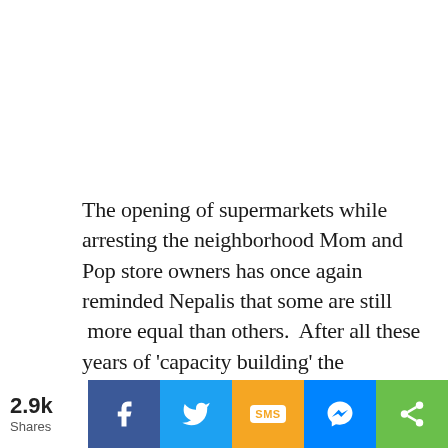The opening of supermarkets while arresting the neighborhood Mom and Pop store owners has once again reminded Nepalis that some are still  more equal than others.  After all these years of 'capacity building' the government has only built its capacity for kickbacks, and increased dependency on outsiders. It bungled procurement on test kits and equipment, ordered the wrong kind of kits and colluded with businessmen to inflate the cost.
2.9k Shares [Facebook] [Twitter] [SMS] [Messenger] [Share]